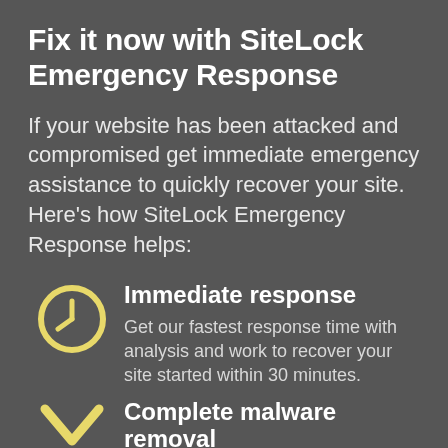Fix it now with SiteLock Emergency Response
If your website has been attacked and compromised get immediate emergency assistance to quickly recover your site. Here's how SiteLock Emergency Response helps:
Immediate response
Get our fastest response time with analysis and work to recover your site started within 30 minutes.
Complete malware removal